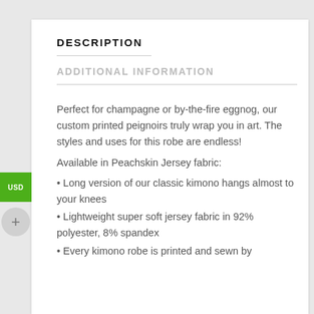DESCRIPTION
ADDITIONAL INFORMATION
Perfect for champagne or by-the-fire eggnog, our custom printed peignoirs truly wrap you in art. The styles and uses for this robe are endless!
Available in Peachskin Jersey fabric:
• Long version of our classic kimono hangs almost to your knees
• Lightweight super soft jersey fabric in 92% polyester, 8% spandex
• Every kimono robe is printed and sewn by